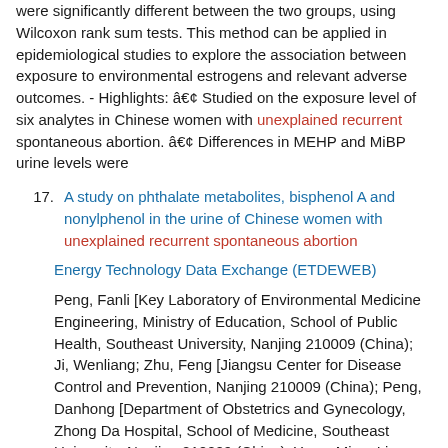were significantly different between the two groups, using Wilcoxon rank sum tests. This method can be applied in epidemiological studies to explore the association between exposure to environmental estrogens and relevant adverse outcomes. - Highlights: â€¢ Studied on the exposure level of six analytes in Chinese women with unexplained recurrent spontaneous abortion. â€¢ Differences in MEHP and MiBP urine levels were
17. A study on phthalate metabolites, bisphenol A and nonylphenol in the urine of Chinese women with unexplained recurrent spontaneous abortion
Energy Technology Data Exchange (ETDEWEB)
Peng, Fanli [Key Laboratory of Environmental Medicine Engineering, Ministry of Education, School of Public Health, Southeast University, Nanjing 210009 (China); Ji, Wenliang; Zhu, Feng [Jiangsu Center for Disease Control and Prevention, Nanjing 210009 (China); Peng, Danhong [Department of Obstetrics and Gynecology, Zhong Da Hospital, School of Medicine, Southeast University, Nanjing 210009 (China); Yang, Miao; Liu, Ran; Pu, Yuepu [Key Laboratory of Environmental